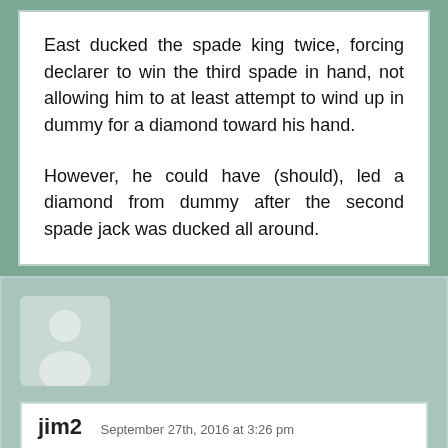East ducked the spade king twice, forcing declarer to win the third spade in hand, not allowing him to at least attempt to wind up in dummy for a diamond toward his hand.

However, he could have (should), led a diamond from dummy after the second spade jack was ducked all around.
[Figure (illustration): Generic user avatar: gray silhouette of a person (head and shoulders) on a light gray rounded rectangle background]
jim2   September 27th, 2016 at 3:26 pm
Yes, Dear Host! That was exactly the